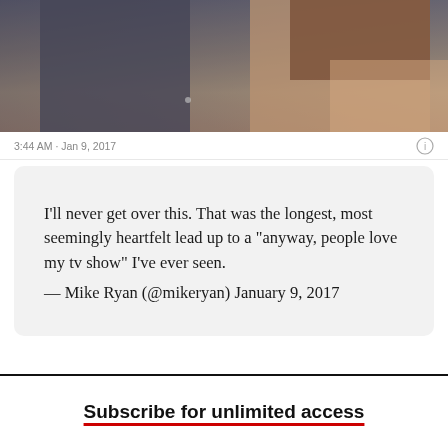[Figure (photo): A photograph showing two people at an event, partially cropped at top]
3:44 AM · Jan 9, 2017
I'll never get over this. That was the longest, most seemingly heartfelt lead up to a "anyway, people love my tv show" I've ever seen.
— Mike Ryan (@mikeryan) January 9, 2017
Subscribe for unlimited access